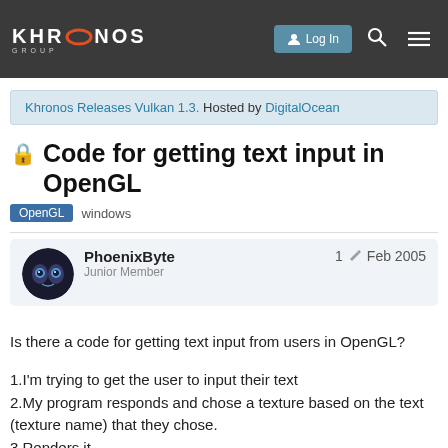Khronos Group — Log In
Khronos Releases Vulkan 1.3. Hosted by DigitalOcean
🔒 Code for getting text input in OpenGL
OpenGL   windows
PhoenixByte
Junior Member
1 ✏ Feb 2005
Is there a code for getting text input from users in OpenGL?

1.I'm trying to get the user to input their text
2.My program responds and chose a texture based on the text (texture name) that they chose.
3.Renders it

I know how to do textures, but i didn't know how to display the